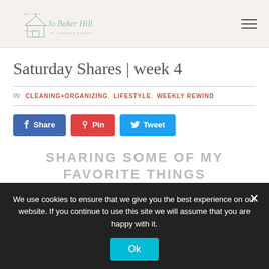Jo Baker Hill — site logo and navigation
Saturday Shares | week 4
IN: CLEANING+ORGANIZING, LIFESTYLE, WEEKLY REWIND
[Figure (screenshot): Social share buttons: Share (Facebook), Pin (Pinterest), Tweet (Twitter)]
SHARING SOME OF MY FAVORITE THINGS FROM THIS WEEK
We use cookies to ensure that we give you the best experience on our website. If you continue to use this site we will assume that you are happy with it.